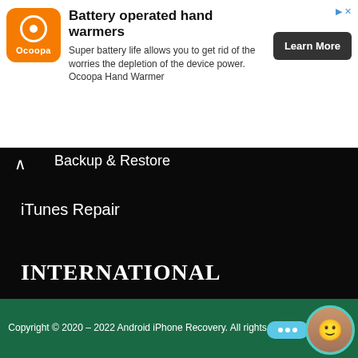[Figure (screenshot): Ocoopa brand advertisement banner for battery operated hand warmers]
Battery operated hand warmers
Super battery life allows you to get rid of the worries the depletion of the device power. Ocoopa Hand Warmer
Backup & Restore
iTunes Repair
INTERNATIONAL
[Figure (illustration): Row of country flags: Germany, Spain, France, Italy, Brazil]
Copyright © 2020 – 2022 Android iPhone Recovery. All rights reserved | Sitemap